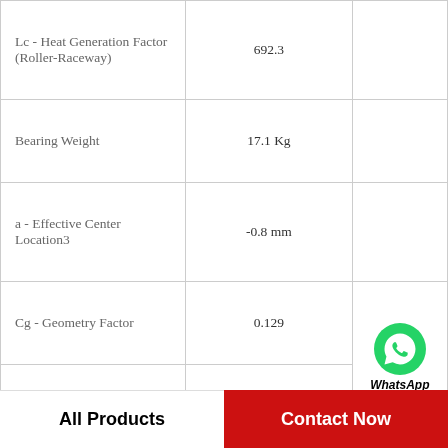| Parameter | Value |  |
| --- | --- | --- |
| Lc - Heat Generation Factor (Roller-Raceway) | 692.3 |  |
| Bearing Weight | 17.1 Kg |  |
| a - Effective Center Location3 | -0.8 mm |  |
| Cg - Geometry Factor | 0.129 | WhatsApp Online |
| Cup Part Number | 94113 |  |
| C - Cup Width | 47.625 mm |  |
| Y - ISO Factor9 | 1.28 |  |
| Da - Cup Frontface | 273.05 mm |  |
All Products   Contact Now